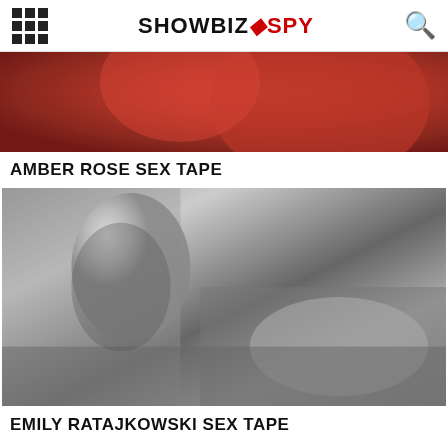SHOWBIZ SPY
[Figure (photo): Amber Rose photo — cropped close-up image with red/rose tones]
AMBER ROSE SEX TAPE
[Figure (photo): Emily Ratajkowski black and white photo posing on bed]
EMILY RATAJKOWSKI SEX TAPE